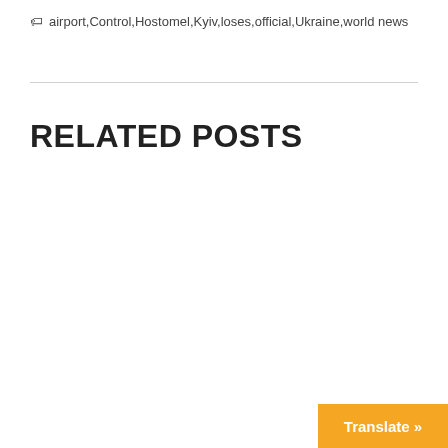🏷 airport,Control,Hostomel,Kyiv,loses,official,Ukraine,world news
RELATED POSTS
Translate »